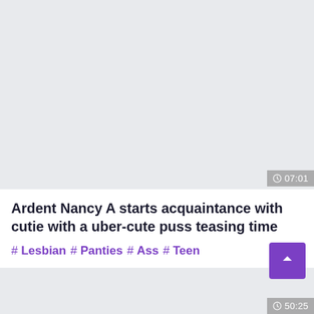[Figure (screenshot): Video thumbnail placeholder area with light gray background]
07:01
Ardent Nancy A starts acquaintance with cutie with a uber-cute puss teasing time
# Lesbian # Panties # Ass # Teen
50:25